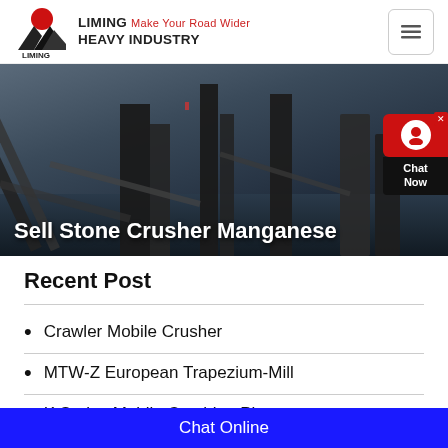LIMING Make Your Road Wider HEAVY INDUSTRY
[Figure (photo): Industrial stone crusher machinery plant with conveyor belts and equipment against a dark sky background]
Sell Stone Crusher Manganese
Recent Post
Crawler Mobile Crusher
MTW-Z European Trapezium-Mill
K Series Mobile Crushing Plant
Chat Online